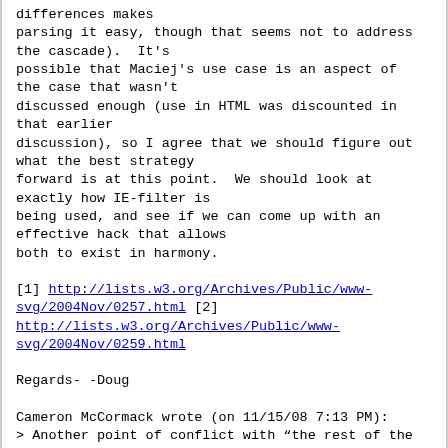differences makes
parsing it easy, though that seems not to address
the cascade).  It's
possible that Maciej's use case is an aspect of
the case that wasn't
discussed enough (use in HTML was discounted in
that earlier
discussion), so I agree that we should figure out
what the best strategy
forward is at this point.  We should look at
exactly how IE-filter is
being used, and see if we can come up with an
effective hack that allows
both to exist in harmony.
[1] http://lists.w3.org/Archives/Public/www-svg/2004Nov/0257.html
[2] http://lists.w3.org/Archives/Public/www-svg/2004Nov/0259.html
Regards-
-Doug
Cameron McCormack wrote (on 11/15/08 7:13 PM):
> Another point of conflict with “the rest of the
web” that you’re
> all probably aware of, but which could be
considered again given our